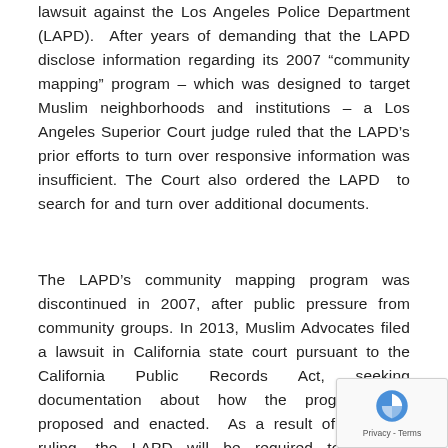lawsuit against the Los Angeles Police Department (LAPD).  After years of demanding that the LAPD disclose information regarding its 2007 “community mapping” program – which was designed to target Muslim neighborhoods and institutions – a Los Angeles Superior Court judge ruled that the LAPD’s prior efforts to turn over responsive information was insufficient. The Court also ordered the LAPD  to search for and turn over additional documents.
The LAPD’s community mapping program was discontinued in 2007, after public pressure from community groups. In 2013, Muslim Advocates filed a lawsuit in California state court pursuant to the California Public Records Act, seeking documentation about how the program was proposed and enacted.  As a result of last we’s ruling, the LAPD will be required to conduct additional searches and produce additional